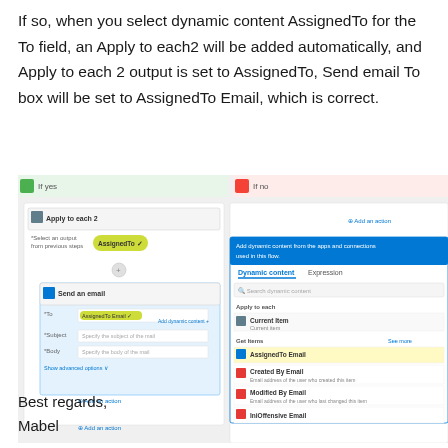If so, when you select dynamic content AssignedTo for the To field, an Apply to each2 will be added automatically, and Apply to each 2 output is set to AssignedTo, Send email To box will be set to AssignedTo Email, which is correct.
[Figure (screenshot): Screenshot of a Microsoft Power Automate workflow showing 'Apply to each 2' step with AssignedTo selected, containing a 'Send an email' action with AssignedTo Email in the To field, alongside a dynamic content panel showing AssignedTo Email highlighted in yellow.]
Best regards,
Mabel